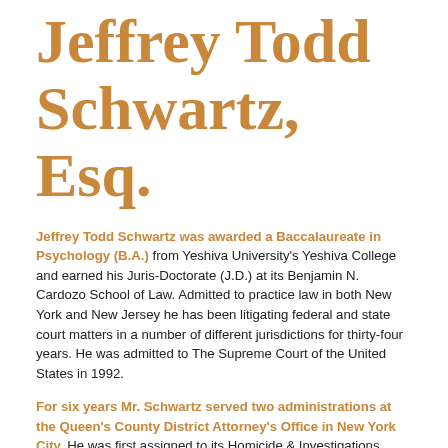Jeffrey Todd Schwartz, Esq.
Jeffrey Todd Schwartz was awarded a Baccalaureate in Psychology (B.A.) from Yeshiva University's Yeshiva College and earned his Juris-Doctorate (J.D.) at its Benjamin N. Cardozo School of Law. Admitted to practice law in both New York and New Jersey he has been litigating federal and state court matters in a number of different jurisdictions for thirty-four years. He was admitted to The Supreme Court of the United States in 1992.
For six years Mr. Schwartz served two administrations at the Queen's County District Attorney's Office in New York City. He was first assigned to its Homicide & Investigations Bureau and was later a founding member of both the Major Narcotics Trial and Career Criminal Major Crime Bureaus. While in private practice he received certification in the areas of Immigration Consequences to Criminal Conviction and Sex Offender Civil Commitment pursuant to Article Ten of the Mental Hygiene Law as well as being certified as 'Lead Counsel' in Homicide